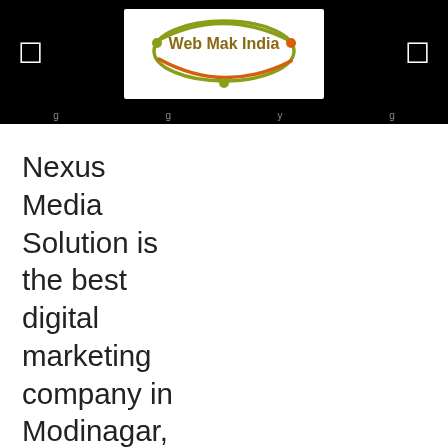Web Mak India
Nexus Media Solution is the best digital marketing company in Modinagar, Uttar Pradesh offering services like SEO, SEM, PPC, Website Development, & Branding. We offered enhance the visibility of your website business, get most targeted